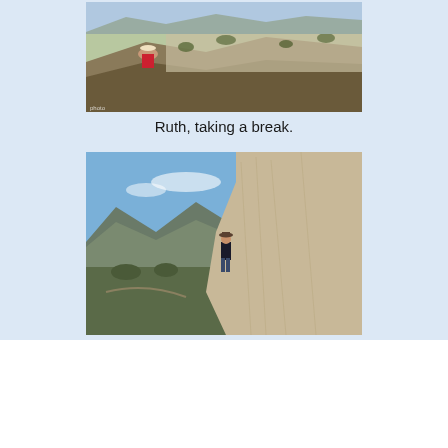[Figure (photo): A person wearing a hat and red outfit sitting on large rocks on a hilltop, with a panoramic aerial view of a town and surrounding landscape below.]
Ruth, taking a break.
[Figure (photo): A person in a cowboy hat walking along a steep, smooth granite rock face with mountains and a valley visible in the background under a blue sky.]